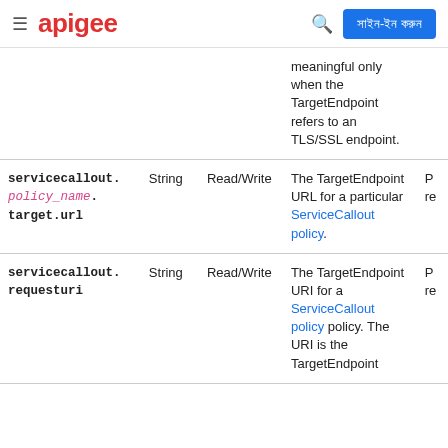apigee | সাইন-ইন করুন
| Name | Type | Access | Description |  |
| --- | --- | --- | --- | --- |
|  |  |  | meaningful only when the TargetEndpoint refers to an TLS/SSL endpoint. |  |
| servicecallout.policy_name.target.url | String | Read/Write | The TargetEndpoint URL for a particular ServiceCallout policy. | P re |
| servicecallout.requesturi | String | Read/Write | The TargetEndpoint URI for a ServiceCallout policy. The URI is the TargetEndpoint | P re |